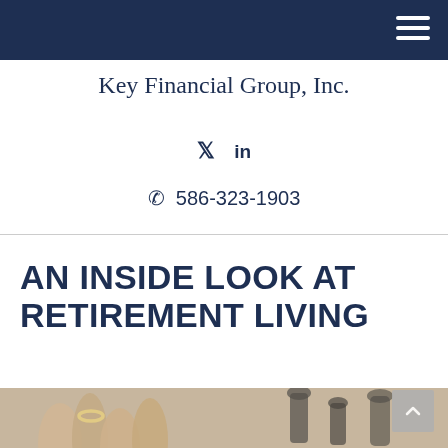Key Financial Group, Inc. — navigation header bar with hamburger menu
Key Financial Group, Inc.
Twitter LinkedIn
586-323-1903
AN INSIDE LOOK AT RETIREMENT LIVING
[Figure (photo): Close-up photograph of hands near chess pieces, partially visible at the bottom of the page]